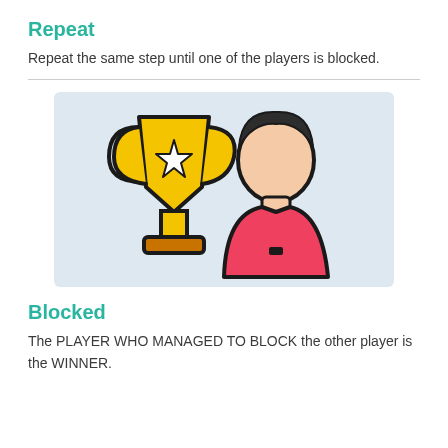Repeat
Repeat the same step until one of the players is blocked.
[Figure (illustration): Icon illustration of a trophy with a star and a person in a red shirt with dark hair, set on a light blue background.]
Blocked
The PLAYER WHO MANAGED TO BLOCK the other player is the WINNER.